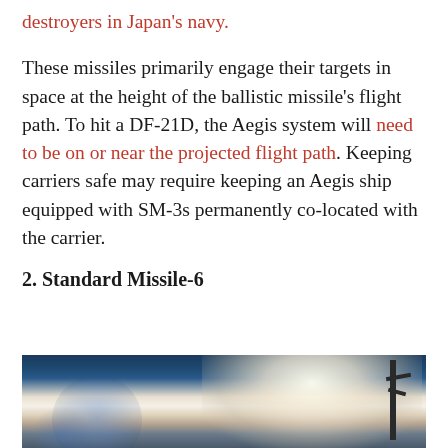destroyers in Japan's navy.
These missiles primarily engage their targets in space at the height of the ballistic missile's flight path. To hit a DF-21D, the Aegis system will need to be on or near the projected flight path. Keeping carriers safe may require keeping an Aegis ship equipped with SM-3s permanently co-located with the carrier.
2. Standard Missile-6
[Figure (photo): Photo of a missile launch with white smoke plume against a blue sky, with a launch structure visible on the right side.]